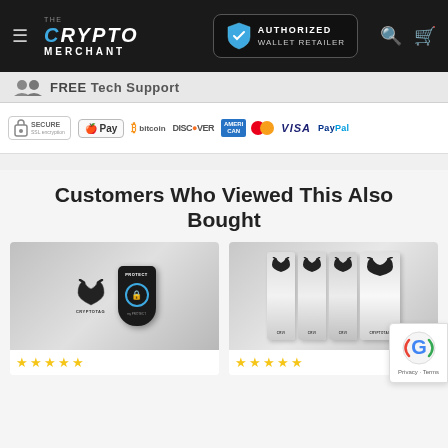[Figure (screenshot): The Crypto Merchant navigation bar with logo, Authorized Wallet Retailer badge, search and cart icons]
FREE Tech Support
[Figure (infographic): Payment method icons: Secure SSL encryption, Apple Pay, Bitcoin, Discover, American Express, MasterCard, VISA, PayPal]
Customers Who Viewed This Also Bought
[Figure (photo): Cryptotag hardware product photo showing device]
[Figure (photo): Cryptotag metal cards product photo showing multiple cards]